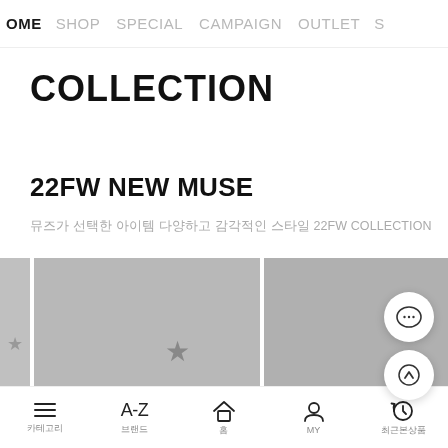HOME  SHOP  SPECIAL  CAMPAIGN  OUTLET  S
COLLECTION
22FW NEW MUSE
뮤즈가 선택한 아이템 다양하고 감각적인 스타일 22FW COLLECTION
[Figure (photo): Three gray placeholder image tiles showing a fashion collection preview, with star icons on two of them.]
카테고리  브랜드  홈  MY  최근본상품